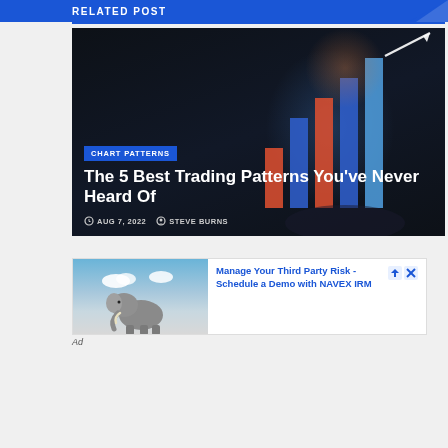RELATED POST
[Figure (photo): Dark background image with glowing chart/graph lines and upward arrow, hand in background, overlaid with article title and metadata]
CHART PATTERNS
The 5 Best Trading Patterns You've Never Heard Of
AUG 7, 2022   STEVE BURNS
[Figure (photo): Elephant photo with blue sky and clouds background, used as advertisement image]
Manage Your Third Party Risk - Schedule a Demo with NAVEX IRM
Ad